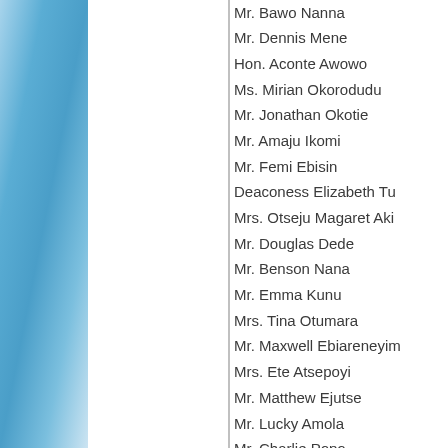Mr. Bawo Nanna
Mr. Dennis Mene
Hon. Aconte Awowo
Ms. Mirian Okorodudu
Mr. Jonathan Okotie
Mr. Amaju Ikomi
Mr. Femi Ebisin
Deaconess Elizabeth Tu
Mrs. Otseju Magaret Aki
Mr. Douglas Dede
Mr. Benson Nana
Mr. Emma Kunu
Mrs. Tina Otumara
Mr. Maxwell Ebiareneyim
Mrs. Ete Atsepoyi
Mr. Matthew Ejutse
Mr. Lucky Amola
Mr. Charlie Popo